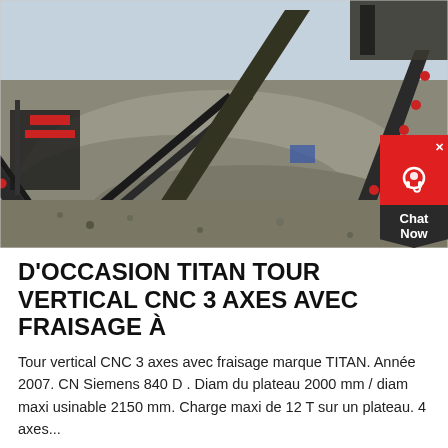[Figure (photo): Industrial mining conveyor belt system with multiple conveyor belts carrying rocks/gravel at an outdoor quarry or mining site. Several large inclined conveyors are visible with red rollers, carrying crushed stone material. Industrial machinery and equipment in background.]
D'OCCASION TITAN TOUR VERTICAL CNC 3 AXES AVEC FRAISAGE À
Tour vertical CNC 3 axes avec fraisage marque TITAN. Année 2007. CN Siemens 840 D . Diam du plateau 2000 mm / diam maxi usinable 2150 mm. Charge maxi de 12 T sur un plateau. 4 axes...